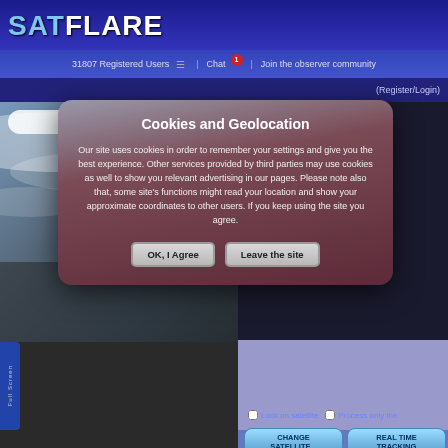SATFLARE
31807 Registered Users | Chat | Join the observer community
(Register/Login)
[Figure (screenshot): Earth viewed from space background image on left side of page]
Cookies and Geolocation
Our site uses cookies in order to remember your settings and give you the best experience. Other services provided by third parties may use cookies as well to show you relevant advertising in our pages. Please note also that, some site's functions might read your location and show your approximate coordinates to other users. If you keep using the site you agree.
OK, I Agree
Leave the site
Lock on satellite
Process only the
CHANGE SATELLITE...
REAL TIME TRACKING